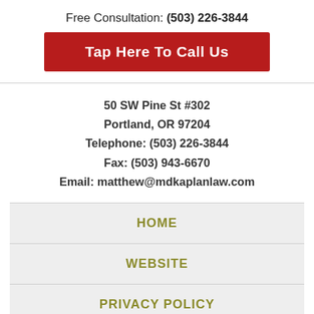Free Consultation: (503) 226-3844
Tap Here To Call Us
50 SW Pine St #302
Portland, OR 97204
Telephone: (503) 226-3844
Fax: (503) 943-6670
Email: matthew@mdkaplanlaw.com
HOME
WEBSITE
PRIVACY POLICY